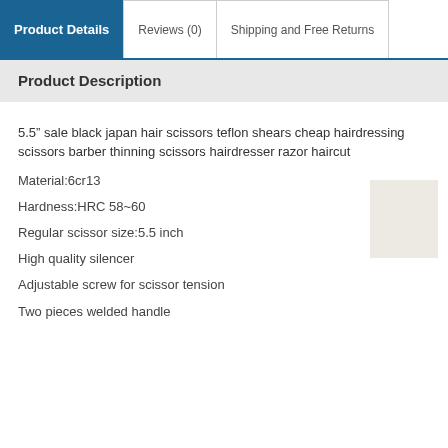Product Details | Reviews (0) | Shipping and Free Returns
Product Description
5.5" sale black japan hair scissors teflon shears cheap hairdressing scissors barber thinning scissors hairdresser razor haircut
Material:6cr13
Hardness:HRC 58~60
Regular scissor size:5.5 inch
High quality silencer
[Figure (photo): Small thumbnail image of the product (scissors), light beige/cream background]
Adjustable screw for scissor tension
Two pieces welded handle